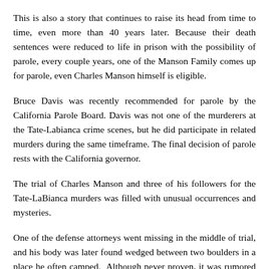This is also a story that continues to raise its head from time to time, even more than 40 years later. Because their death sentences were reduced to life in prison with the possibility of parole, every couple years, one of the Manson Family comes up for parole, even Charles Manson himself is eligible.
Bruce Davis was recently recommended for parole by the California Parole Board. Davis was not one of the murderers at the Tate-Labianca crime scenes, but he did participate in related murders during the same timeframe. The final decision of parole rests with the California governor.
The trial of Charles Manson and three of his followers for the Tate-LaBianca murders was filled with unusual occurrences and mysteries.
One of the defense attorneys went missing in the middle of trial, and his body was later found wedged between two boulders in a place he often camped. Although never proven, it was rumored that the Manson Family killed him for disobeying Manson when it came to trial